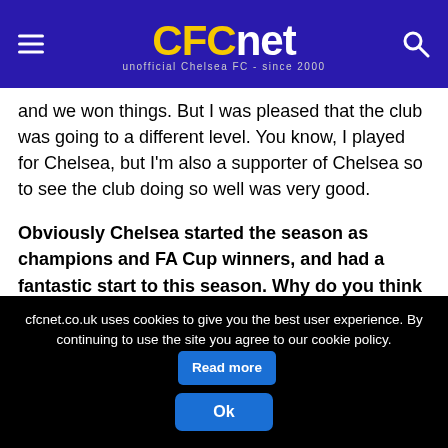CFCnet unofficial Chelsea FC - since 2000
and we won things. But I was pleased that the club was going to a different level. You know, I played for Chelsea, but I'm also a supporter of Chelsea so to see the club doing so well was very good.
Obviously Chelsea started the season as champions and FA Cup winners, and had a fantastic start to this season. Why do you think they've dropped back in the title race this season?
GZ: To be honest they've lost important players throughout the season, like John Terry and Frank Lampard to injury and Didier
cfcnet.co.uk uses cookies to give you the best user experience. By continuing to use the site you agree to our cookie policy. Read more Ok